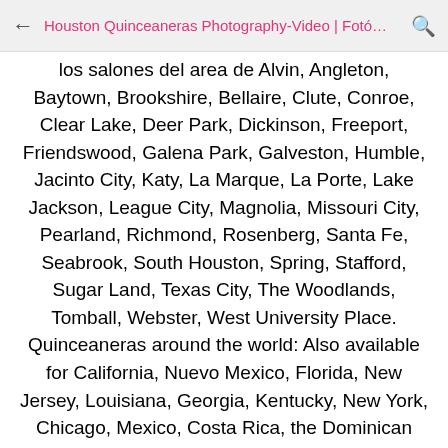Houston Quinceaneras Photography-Video | Fotó…
los salones del area de Alvin, Angleton, Baytown, Brookshire, Bellaire, Clute, Conroe, Clear Lake, Deer Park, Dickinson, Freeport, Friendswood, Galena Park, Galveston, Humble, Jacinto City, Katy, La Marque, La Porte, Lake Jackson, League City, Magnolia, Missouri City, Pearland, Richmond, Rosenberg, Santa Fe, Seabrook, South Houston, Spring, Stafford, Sugar Land, Texas City, The Woodlands, Tomball, Webster, West University Place. Quinceaneras around the world: Also available for California, Nuevo Mexico, Florida, New Jersey, Louisiana, Georgia, Kentucky, New York, Chicago, Mexico, Costa Rica, the Dominican Republic, The Bahamas, Puerto Rico, Cuba. ----------- https://www.juanhuerta.com/quinceaneras-gallery/ ----------- #quinceanerasgallery #juanhuerta #juanhuertaphotography #fotografoshouston #houstonquinceanera #quinceanera #quinceañera #fotovideo #fotoyvideo #fotovideo15